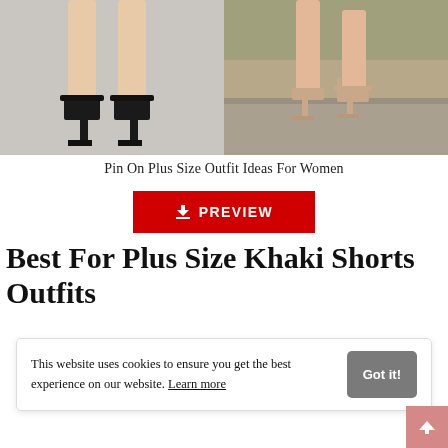[Figure (photo): Two side-by-side photos showing women's legs and heeled shoes. Left: legs with black block-heel sandals on grey background. Right: legs with nude strappy heels in outdoor setting.]
Pin On Plus Size Outfit Ideas For Women
[Figure (other): Red PREVIEW button with download icon]
Best For Plus Size Khaki Shorts Outfits
This website uses cookies to ensure you get the best experience on our website. Learn more
Got it!